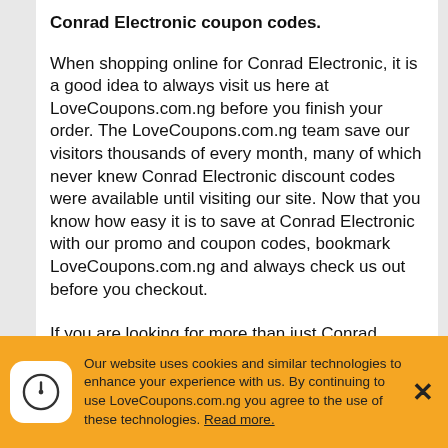Conrad Electronic coupon codes.
When shopping online for Conrad Electronic, it is a good idea to always visit us here at LoveCoupons.com.ng before you finish your order. The LoveCoupons.com.ng team save our visitors thousands of every month, many of which never knew Conrad Electronic discount codes were available until visiting our site. Now that you know how easy it is to save at Conrad Electronic with our promo and coupon codes, bookmark LoveCoupons.com.ng and always check us out before you checkout.
If you are looking for more than just Conrad Electronic coupon codes, here at LoveCoupons.com.ng...
Our website uses cookies and similar technologies to enhance your experience with us. By continuing to use LoveCoupons.com.ng you agree to the use of these technologies. Read more.